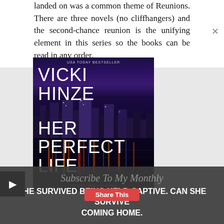landed on was a common theme of Reunions. There are three novels (no cliffhangers) and the second-chance reunion is the unifying element in this series so the books can be read in any order.
[Figure (photo): Book cover for 'Her Perfect Life' by Vicki Hinze (USA Today Bestseller). Dark cover with city skyline reflected in water at night. Quote: 'The Perfect Read.' -Susan Wiggs]
Subscribe To My Monthly
SHE SURVIVED BEING HELD CAPTIVE. CAN SHE SURVIVE COMING HOME.
Share This